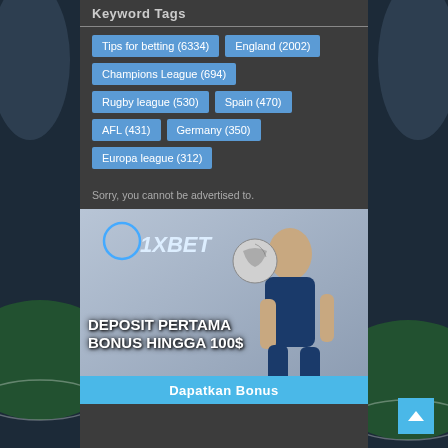Keyword Tags
Tips for betting (6334)
England (2002)
Champions League (694)
Rugby league (530)
Spain (470)
AFL (431)
Germany (350)
Europa league (312)
Sorry, you cannot be advertised to.
[Figure (infographic): 1XBET advertisement banner with text: DEPOSIT PERTAMA BONUS HINGGA 100$ and Dapatkan Bonus button at bottom, featuring a woman with a football ball and 1XBET logo]